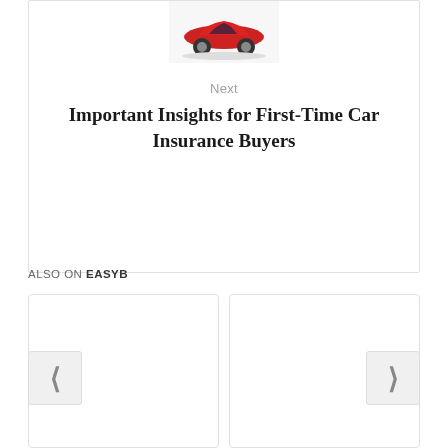[Figure (photo): Red sports car thumbnail image]
Next
Important Insights for First-Time Car Insurance Buyers
ALSO ON EASYB
[Figure (other): Left panel of a Disqus also-on widget showing navigation cards]
[Figure (other): Right panel of a Disqus also-on widget showing navigation cards]